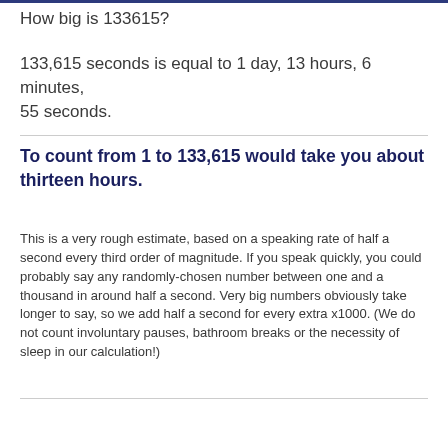How big is 133615?
133,615 seconds is equal to 1 day, 13 hours, 6 minutes, 55 seconds.
To count from 1 to 133,615 would take you about thirteen hours.
This is a very rough estimate, based on a speaking rate of half a second every third order of magnitude. If you speak quickly, you could probably say any randomly-chosen number between one and a thousand in around half a second. Very big numbers obviously take longer to say, so we add half a second for every extra x1000. (We do not count involuntary pauses, bathroom breaks or the necessity of sleep in our calculation!)